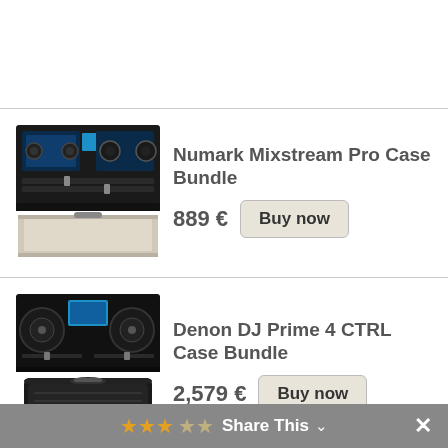[Figure (photo): Numark Mixstream Pro DJ controller with flight case bundle product image]
Numark Mixstream Pro Case Bundle
889 €
Buy now
[Figure (photo): Denon DJ Prime 4 CTRL DJ controller with case bundle product image]
Denon DJ Prime 4 CTRL Case Bundle
2,579 €
Buy now
Denon DJ Prime 4
Share This